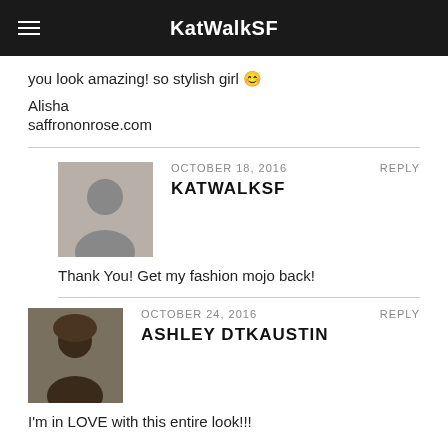KatWalkSF
you look amazing! so stylish girl 🙂
Alisha
saffrononrose.com
OCTOBER 18, 2016  KATWALKSF  REPLY
Thank You! Get my fashion mojo back!
OCTOBER 24, 2016  ASHLEY DTKAUSTIN  REPLY
I'm in LOVE with this entire look!!!